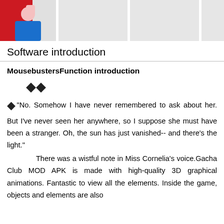[Figure (photo): Top row of images: first image shows a person in red outfit, followed by three gray placeholder image boxes]
Software introduction
MousebustersFunction introduction
◆◆
◆"No. Somehow I have never remembered to ask about her. But I've never seen her anywhere, so I suppose she must have been a stranger. Oh, the sun has just vanished-- and there's the light."
There was a wistful note in Miss Cornelia's voice.Gacha Club MOD APK is made with high-quality 3D graphical animations. Fantastic to view all the elements. Inside the game, objects and elements are also